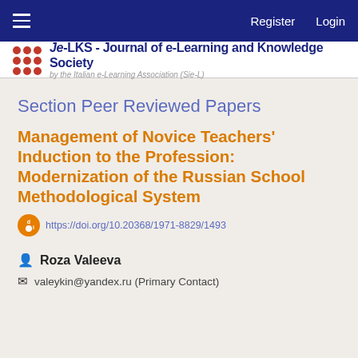Register  Login
[Figure (logo): Je-LKS - Journal of e-Learning and Knowledge Society logo with red dot grid and text 'by the Italian e-Learning Association (Sie-L)']
Section Peer Reviewed Papers
Management of Novice Teachers' Induction to the Profession: Modernization of the Russian School Methodological System
https://doi.org/10.20368/1971-8829/1493
Roza Valeeva
valeykin@yandex.ru (Primary Contact)